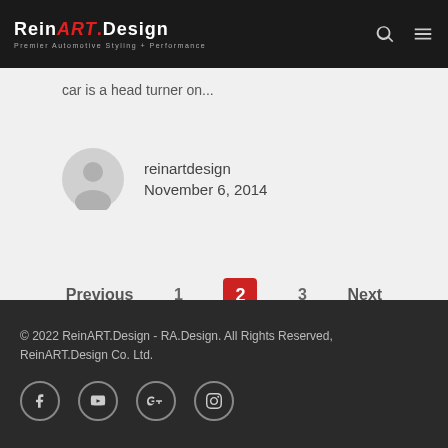ReinART.Design — Premier Automotive Styling + Performance
car is a head turner on...
reinartdesign
November 6, 2014
Previous  1  2  3  Next
© 2022 ReinART.Design - RA.Design. All Rights Reserved, ReinART.Design Co. Ltd.